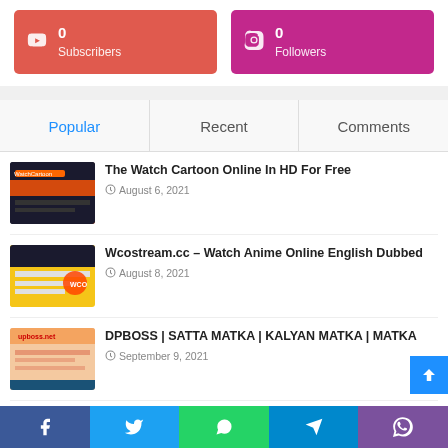[Figure (infographic): YouTube red card showing 0 Subscribers]
[Figure (infographic): Instagram magenta card showing 0 Followers]
Popular
Recent
Comments
[Figure (screenshot): Thumbnail for Watch Cartoon Online in HD article]
The Watch Cartoon Online In HD For Free
August 6, 2021
[Figure (screenshot): Thumbnail for Wcostream.cc article]
Wcostream.cc – Watch Anime Online English Dubbed
August 8, 2021
[Figure (screenshot): Thumbnail for DPBOSS article]
DPBOSS | SATTA MATKA | KALYAN MATKA | MATKA
September 9, 2021
Facebook | Twitter | WhatsApp | Telegram | Viber